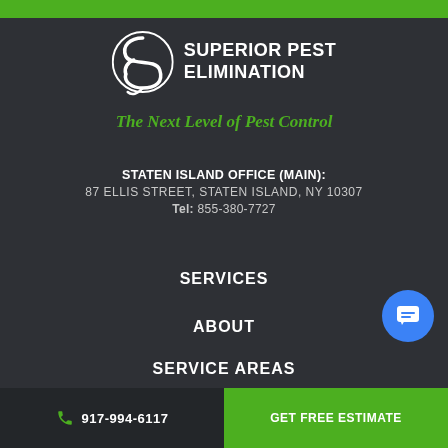[Figure (logo): Superior Pest Elimination logo with stylized S and company name in white bold uppercase]
The Next Level of Pest Control
STATEN ISLAND OFFICE (MAIN):
87 ELLIS STREET, STATEN ISLAND, NY 10307
Tel: 855-380-7727
SERVICES
ABOUT
SERVICE AREAS
917-994-6117
GET FREE ESTIMATE